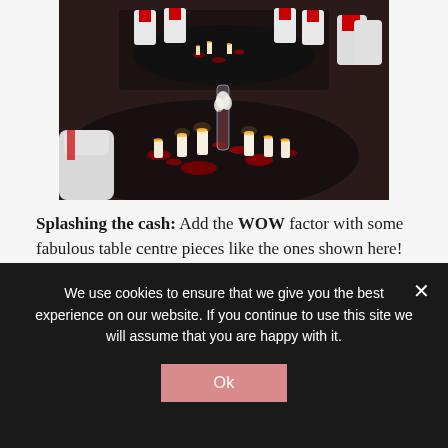[Figure (photo): Event banquet room with round tables covered in black tablecloths, white chair covers with red sashes, and decorative centerpieces featuring tall glass vases with submerged white flowers, red rose petals, and lit white candles arranged on the dark table surface.]
Splashing the cash: Add the WOW factor with some fabulous table centre pieces like the ones shown here!
We use cookies to ensure that we give you the best experience on our website. If you continue to use this site we will assume that you are happy with it.